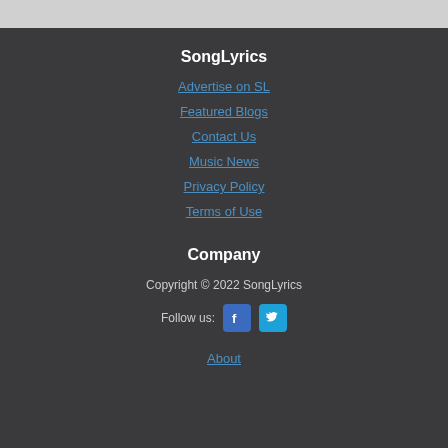SongLyrics
Advertise on SL
Featured Blogs
Contact Us
Music News
Privacy Policy
Terms of Use
Company
Copyright © 2022 SongLyrics
Follow us:
About